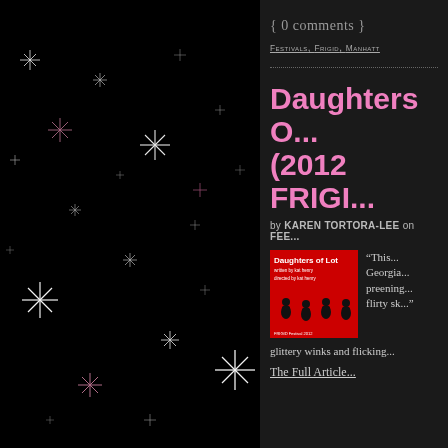[Figure (photo): Black background with scattered white and pink star/sparkle shapes, resembling a night sky]
{ 0 comments }
Festivals, Frigid, Manhatt...
Daughters O... (2012 FRIGI...
by KAREN TORTORA-LEE on FEE...
[Figure (photo): Red poster for 'Daughters of Lot' with silhouettes of figures]
“This... Georgia... preening... flirty sk...
glittery winks and flicking...
The Full Article...